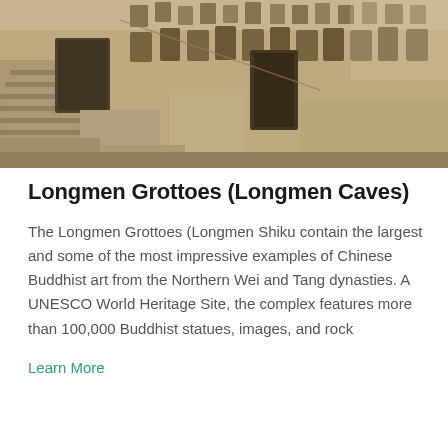[Figure (photo): Photograph of the Longmen Grottoes cave complex showing rock-cut Buddhist sculptures and niches carved into a stone cliff face, with stone stairs visible on the left side]
Longmen Grottoes (Longmen Caves)
The Longmen Grottoes (Longmen Shiku contain the largest and some of the most impressive examples of Chinese Buddhist art from the Northern Wei and Tang dynasties. A UNESCO World Heritage Site, the complex features more than 100,000 Buddhist statues, images, and rock
Learn More